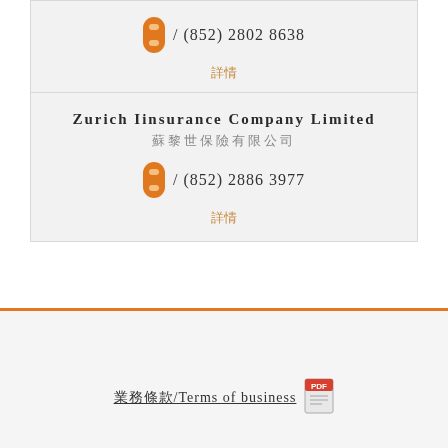電話 / (852) 2802 8638
詳情
Zurich Iinsurance Company Limited
蘇黎世保險有限公司
電話 / (852) 2886 3977
詳情
業務條款/Terms of business